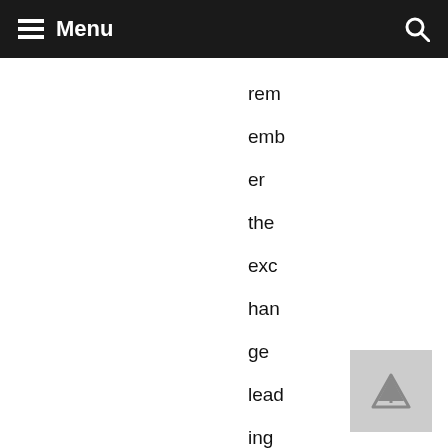Menu
remember the exchange leading up to it as one of the most unfair moments of